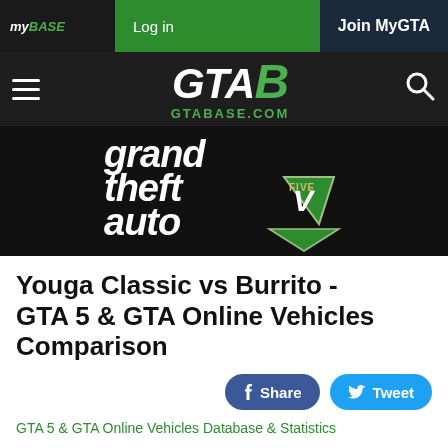my BASE | Log in | Join MyGTA
[Figure (logo): GTAB GTABASE.COM logo on dark navigation bar with hamburger menu and search icon]
[Figure (logo): Grand Theft Auto V logo on dark background banner]
Youga Classic vs Burrito - GTA 5 & GTA Online Vehicles Comparison
GTA 5 & GTA Online Vehicles Database & Statistics